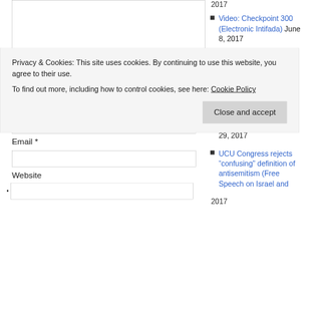Name *
Email *
Website
Video: Checkpoint 300 (Electronic Intifada) June 8, 2017
Self-organization in the 2016 Palestinian Teachers Strike (New Politics) June 1, 2017
Black4Palestine was proud to sign Labor for Palestine's petition May 29, 2017
UCU Congress rejects “confusing” definition of antisemitism (Free Speech on Israel and…
2017
2017
Privacy & Cookies: This site uses cookies. By continuing to use this website, you agree to their use.
To find out more, including how to control cookies, see here: Cookie Policy